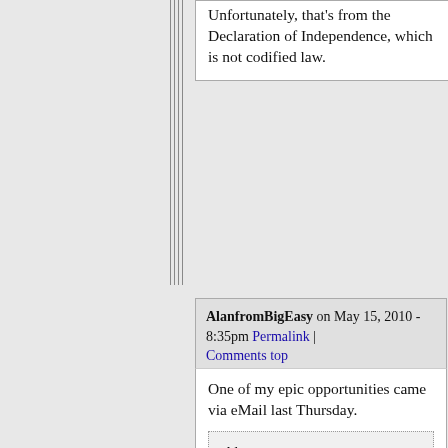Unfortunately, that's from the Declaration of Independence, which is not codified law.
AlanfromBigEasy on May 15, 2010 - 8:35pm Permalink | Comments top
One of my epic opportunities came via eMail last Thursday.
Alan

I am working on creating a [well known organization] vision for getting transportation